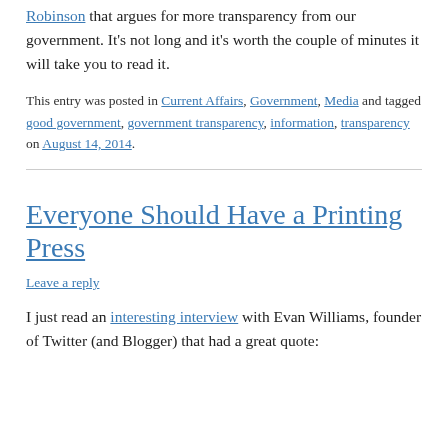Robinson that argues for more transparency from our government. It's not long and it's worth the couple of minutes it will take you to read it.
This entry was posted in Current Affairs, Government, Media and tagged good government, government transparency, information, transparency on August 14, 2014.
Everyone Should Have a Printing Press
Leave a reply
I just read an interesting interview with Evan Williams, founder of Twitter (and Blogger) that had a great quote: